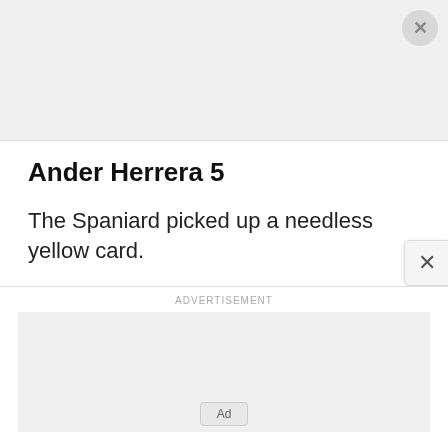[Figure (other): Gray placeholder box with close/dismiss button (X) in top-right corner]
Ander Herrera 5
The Spaniard picked up a needless yellow card.
ADVERTISEMENT
[Figure (other): Gray advertisement placeholder box with Ad label button at bottom]